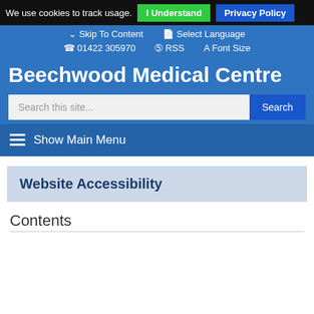We use cookies to track usage. I Understand Privacy Policy
Skip To Content  Select Language  01422 305970  RSS  Font Size
Beechwood Medical Centre
Search this site... Search
Show Main Menu
Website Accessibility
Contents